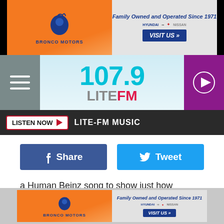[Figure (screenshot): Bronco Motors advertisement banner - Family Owned and Operated Since 1971]
[Figure (logo): 107.9 LITE FM radio station logo with hamburger menu and play button]
LISTEN NOW   LITE-FM MUSIC
[Figure (screenshot): Facebook Share and Twitter Tweet social media buttons]
a Human Beinz song to show just how awesome and delicious our potatoes are!
[Figure (screenshot): Bronco Motors advertisement banner (bottom) - Family Owned and Operated Since 1971]